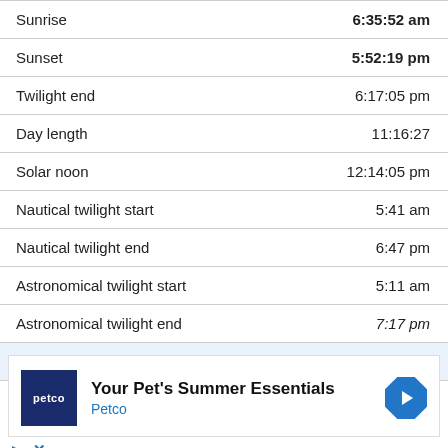|  |  |
| --- | --- |
| Sunrise | 6:35:52 am |
| Sunset | 5:52:19 pm |
| Twilight end | 6:17:05 pm |
| Day length | 11:16:27 |
| Solar noon | 12:14:05 pm |
| Nautical twilight start | 5:41 am |
| Nautical twilight end | 6:47 pm |
| Astronomical twilight start | 5:11 am |
| Astronomical twilight end | 7:17 pm |
| Wed, Aug 31 |  |
[Figure (other): Petco advertisement banner: 'Your Pet's Summer Essentials' with Petco logo and navigation arrow icon]